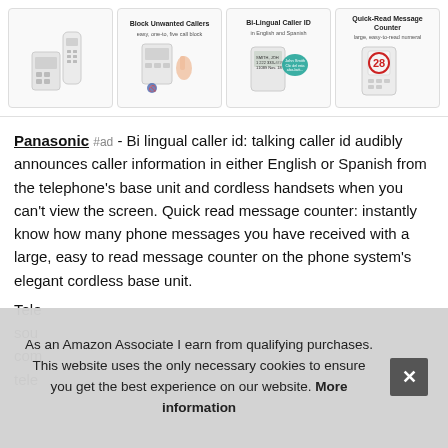[Figure (photo): Four product image panels showing: (1) Panasonic cordless phone set with base and handset, (2) 'Block Unwanted Callers - easy, one-to-five call block' feature with hand pressing button, (3) 'Bi-Lingual Caller ID in English and Spanish' showing caller ID display with teal speech bubble, (4) 'Quick-Read Message Counter - large, easy-to-read numeral' showing base unit with number 28 in red circle]
Panasonic #ad - Bi lingual caller id: talking caller id audibly announces caller information in either English or Spanish from the telephone's base unit and cordless handsets when you can't view the screen. Quick read message counter: instantly know how many phone messages you have received with a large, easy to read message counter on the phone system's elegant cordless base unit.
Tele... sou... com... tele...
As an Amazon Associate I earn from qualifying purchases. This website uses the only necessary cookies to ensure you get the best experience on our website. More information